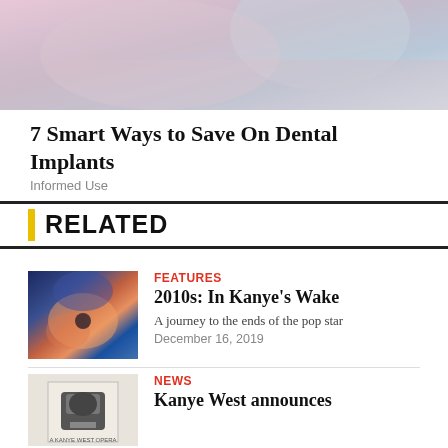[Figure (photo): Photo of a dental professional in pink scrubs and white gloves holding a dental instrument, partially cropped at top of page]
7 Smart Ways to Save On Dental Implants
Informed Use
RELATED
[Figure (photo): Artistic image with blue sky, clouds, and orange/pink ethereal figures — illustration for Kanye's Wake article]
FEATURES
2010s: In Kanye's Wake
A journey to the ends of the pop star
December 16, 2019
[Figure (photo): Black and white image of a theatrical mask or figure, with text 'A KANYE WEST OPERA' below — thumbnail for News item]
NEWS
Kanye West announces